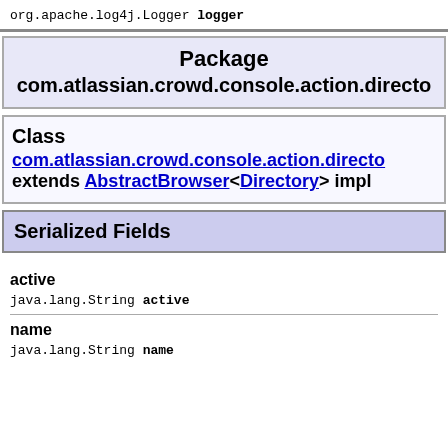org.apache.log4j.Logger logger
Package com.atlassian.crowd.console.action.directo
Class com.atlassian.crowd.console.action.directo extends AbstractBrowser<Directory> impl
Serialized Fields
active
java.lang.String active
name
java.lang.String name